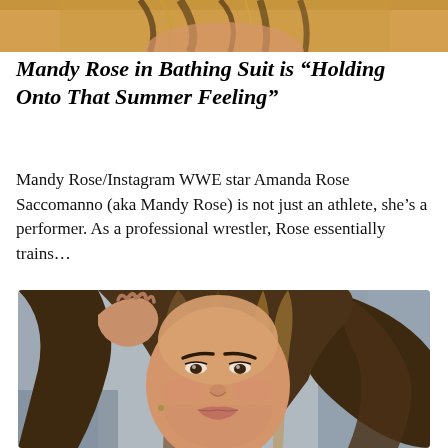[Figure (photo): Cropped top portion of a person with brown/blonde hair, partial face visible, warm golden tones]
Mandy Rose in Bathing Suit is “Holding Onto That Summer Feeling”
Mandy Rose/Instagram WWE star Amanda Rose Saccomanno (aka Mandy Rose) is not just an athlete, she’s a performer. As a professional wrestler, Rose essentially trains…
[Figure (photo): Close-up selfie photo of a young woman with long wavy brown hair with blonde highlights, hand raised to hair, inside a car, natural makeup look]